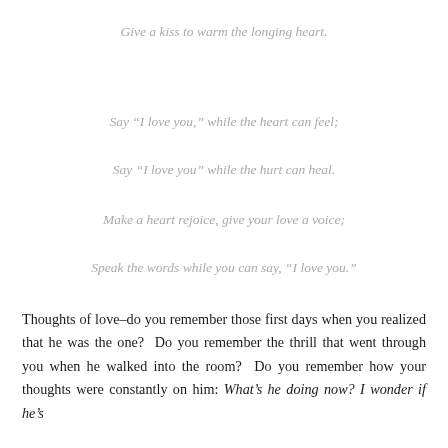Give a kiss to warm the longing heart.
Say “I love you,” while the heart can feel;
Say “I love you” while the hurt can heal.
Make a heart rejoice, give your love a voice;
Speak the words while you can say, “I love you.”
Thoughts of love–do you remember those first days when you realized that he was the one?  Do you remember the thrill that went through you when he walked into the room?  Do you remember how your thoughts were constantly on him: What’s he doing now? I wonder if he’s